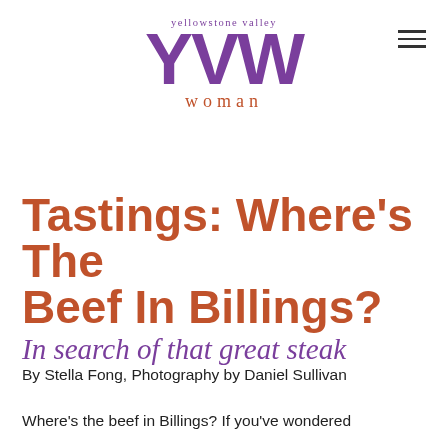[Figure (logo): Yellowstone Valley YVW Woman magazine logo in purple and burnt orange]
Tastings: Where's the Beef in Billings?
In search of that great steak
By Stella Fong, Photography by Daniel Sullivan
Where's the beef in Billings? If you've wondered